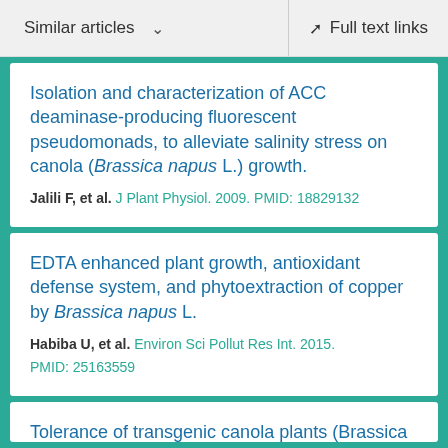Similar articles  ∨    Full text links
Isolation and characterization of ACC deaminase-producing fluorescent pseudomonads, to alleviate salinity stress on canola (Brassica napus L.) growth.
Jalili F, et al. J Plant Physiol. 2009. PMID: 18829132
EDTA enhanced plant growth, antioxidant defense system, and phytoextraction of copper by Brassica napus L.
Habiba U, et al. Environ Sci Pollut Res Int. 2015. PMID: 25163559
Tolerance of transgenic canola plants (Brassica